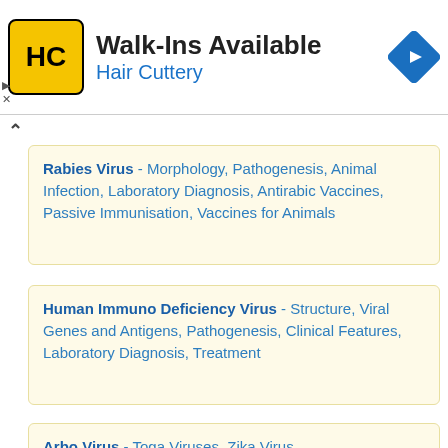[Figure (other): Advertisement banner for Hair Cuttery with logo, 'Walk-Ins Available' text, and navigation icon]
Rabies Virus - Morphology, Pathogenesis, Animal Infection, Laboratory Diagnosis, Antirabic Vaccines, Passive Immunisation, Vaccines for Animals
Human Immuno Deficiency Virus - Structure, Viral Genes and Antigens, Pathogenesis, Clinical Features, Laboratory Diagnosis, Treatment
Arbo Virus - Toga Viruses, Zika Virus
Summary - Medical Virology | Microbiology